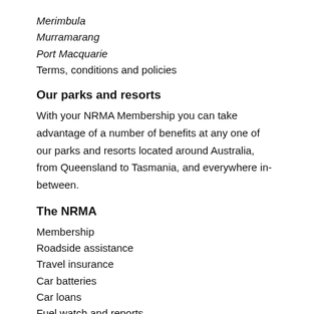Merimbula
Murramarang
Port Macquarie
Terms, conditions and policies
Our parks and resorts
With your NRMA Membership you can take advantage of a number of benefits at any one of our parks and resorts located around Australia, from Queensland to Tasmania, and everywhere in-between.
The NRMA
Membership
Roadside assistance
Travel insurance
Car batteries
Car loans
Fuel watch and reports
Contact us